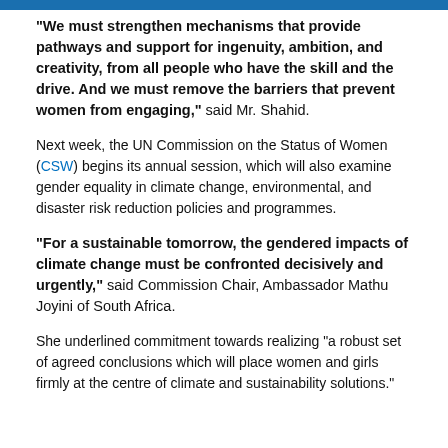[blue decorative bar]
“We must strengthen mechanisms that provide pathways and support for ingenuity, ambition, and creativity, from all people who have the skill and the drive. And we must remove the barriers that prevent women from engaging,” said Mr. Shahid.
Next week, the UN Commission on the Status of Women (CSW) begins its annual session, which will also examine gender equality in climate change, environmental, and disaster risk reduction policies and programmes.
“For a sustainable tomorrow, the gendered impacts of climate change must be confronted decisively and urgently,” said Commission Chair, Ambassador Mathu Joyini of South Africa.
She underlined commitment towards realizing “a robust set of agreed conclusions which will place women and girls firmly at the centre of climate and sustainability solutions.”